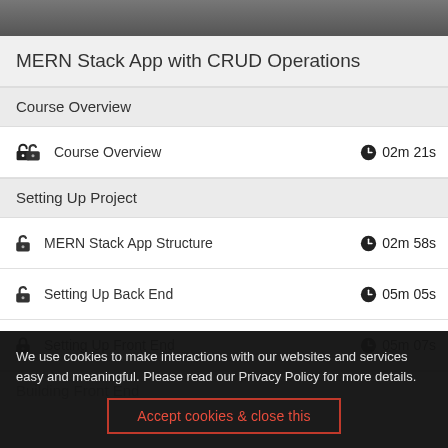[Figure (photo): Top banner image, dark/gray screenshot of course video]
MERN Stack App with CRUD Operations
Course Overview
Course Overview  02m 21s
Setting Up Project
MERN Stack App Structure  02m 58s
Setting Up Back End  05m 05s
Setting Up Front End  05m 07s
Building Front End
We use cookies to make interactions with our websites and services easy and meaningful. Please read our Privacy Policy for more details.
Accept cookies & close this